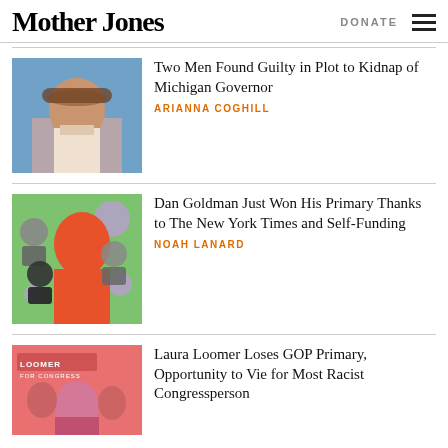Mother Jones | DONATE
[Figure (photo): Photo of a woman with brown hair smiling, blue curtain background — Michigan Governor Gretchen Whitmer]
Two Men Found Guilty in Plot to Kidnap of Michigan Governor
ARIANNA COGHILL
[Figure (illustration): Illustrated graphic of Dan Goldman in orange halftone on green background with purple circle accents and silhouettes of other candidates]
Dan Goldman Just Won His Primary Thanks to The New York Times and Self-Funding
NOAH LANARD
[Figure (photo): Red-tinted photo of Laura Loomer at a campaign event with a sign reading LOOMER FOR CONGRESS]
Laura Loomer Loses GOP Primary, Opportunity to Vie for Most Racist Congressperson